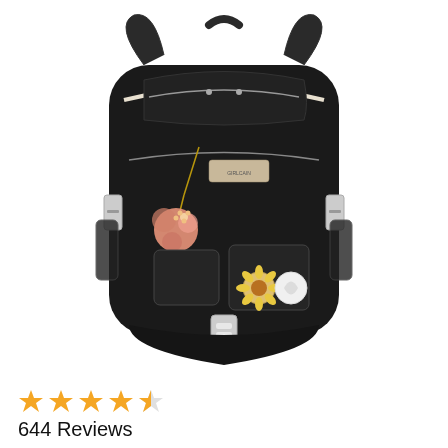[Figure (photo): A black school/travel backpack with white zipper trim, pink fluffy pom-pom keychain, brand label patch, decorative pins, multiple pockets, buckle strap, and mesh side pocket, photographed on a white background.]
★★★★★ (4.5 stars) 644 Reviews